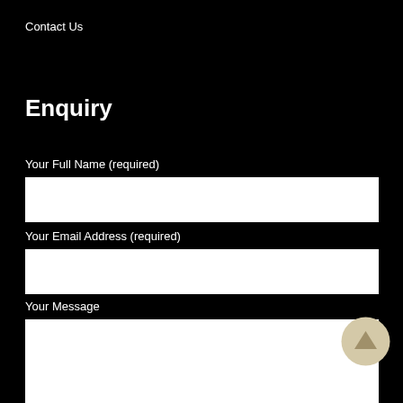Contact Us
Enquiry
Your Full Name (required)
Your Email Address (required)
Your Message
[Figure (other): Circular scroll-to-top button with upward arrow, tan/gold color on light gray background]